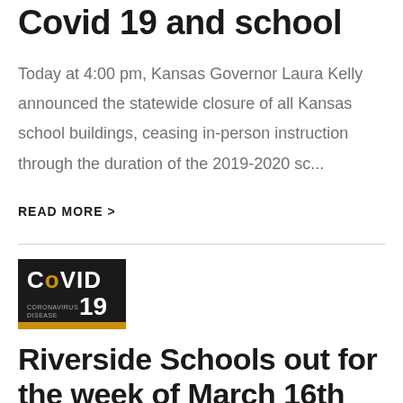Covid 19 and school
Today at 4:00 pm, Kansas Governor Laura Kelly announced the statewide closure of all Kansas school buildings, ceasing in-person instruction through the duration of the 2019-2020 sc...
READ MORE >
[Figure (logo): COVID-19 Coronavirus Disease logo badge with black background and gold bottom stripe]
Riverside Schools out for the week of March 16th
Parents, with today's recommendation